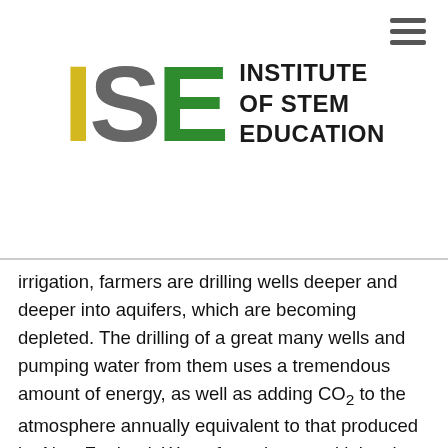[Figure (logo): ISE – Institute of Stem Education logo. Large letters I (yellow), S (gray), E (green) with text 'INSTITUTE OF STEM EDUCATION' in bold black to the right.]
irrigation, farmers are drilling wells deeper and deeper into aquifers, which are becoming depleted. The drilling of a great many wells and pumping water from them uses a tremendous amount of energy, as well as adding CO₂ to the atmosphere annually equivalent to that produced by New Zealand. Water from rivers and lakes is increasingly polluted and largely unavailable to agriculture due to competition from industry and cities.